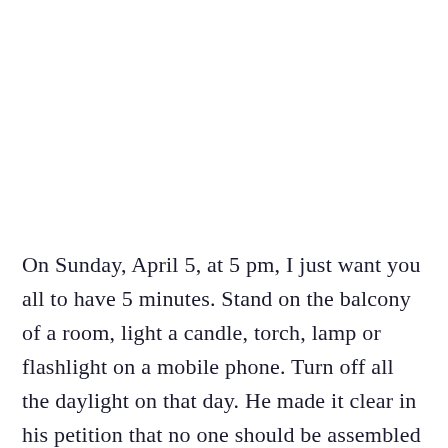On Sunday, April 5, at 5 pm, I just want you all to have 5 minutes. Stand on the balcony of a room, light a candle, torch, lamp or flashlight on a mobile phone. Turn off all the daylight on that day. He made it clear in his petition that no one should be assembled on that day. Do this from your own home.